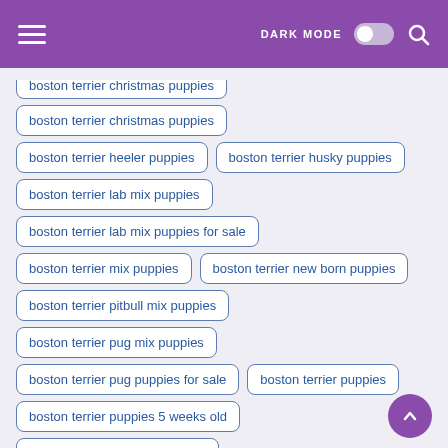DARK MODE [toggle] [search]
boston terrier christmas puppies
boston terrier heeler puppies
boston terrier husky puppies
boston terrier lab mix puppies
boston terrier lab mix puppies for sale
boston terrier mix puppies
boston terrier new born puppies
boston terrier pitbull mix puppies
boston terrier pug mix puppies
boston terrier pug puppies for sale
boston terrier puppies
boston terrier puppies 5 weeks old
boston terrier puppies 8 weeks